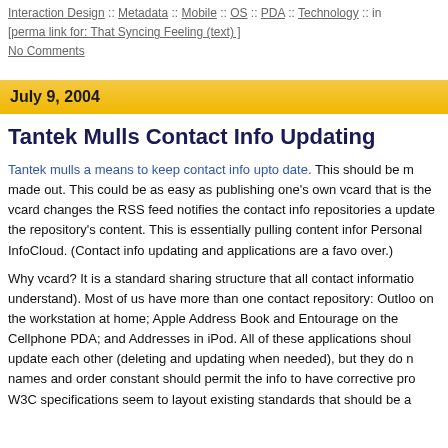Interaction Design :: Metadata :: Mobile :: OS :: PDA :: Technology :: in
[perma link for: That Syncing Feeling (text) ]
No Comments
July 9, 2004
Tantek Mulls Contact Info Updating
Tantek mulls a means to keep contact info upto date. This should be m made out. This could be as easy as publishing one's own vcard that is the vcard changes the RSS feed notifies the contact info repositories a update the repository's content. This is essentially pulling content infor Personal InfoCloud. (Contact info updating and applications are a favo over.)
Why vcard? It is a standard sharing structure that all contact informatio understand). Most of us have more than one contact repository: Outloo on the workstation at home; Apple Address Book and Entourage on the Cellphone PDA; and Addresses in iPod. All of these applications shoul update each other (deleting and updating when needed), but they do n names and order constant should permit the info to have corrective pro W3C specifications seem to layout existing standards that should be a